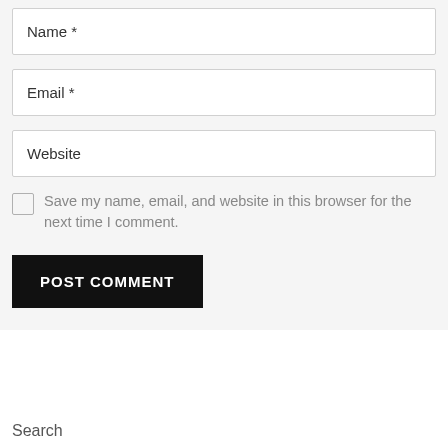[Figure (screenshot): Web form showing Name*, Email*, and Website input fields with placeholder text, a checkbox labeled 'Save my name, email, and website in this browser for the next time I comment.', and a POST COMMENT button]
Search